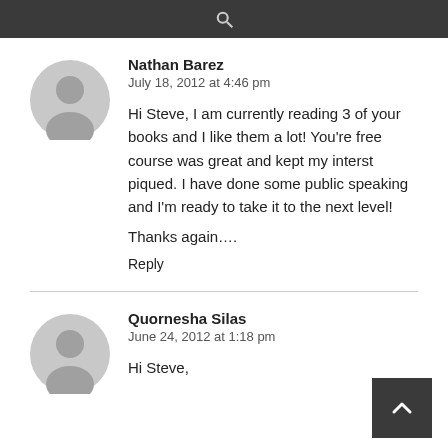Search
Nathan Barez
July 18, 2012 at 4:46 pm

Hi Steve, I am currently reading 3 of your books and I like them a lot! You're free course was great and kept my interst piqued. I have done some public speaking and I'm ready to take it to the next level!

Thanks again….

Reply
Quornesha Silas
June 24, 2012 at 1:18 pm

Hi Steve,